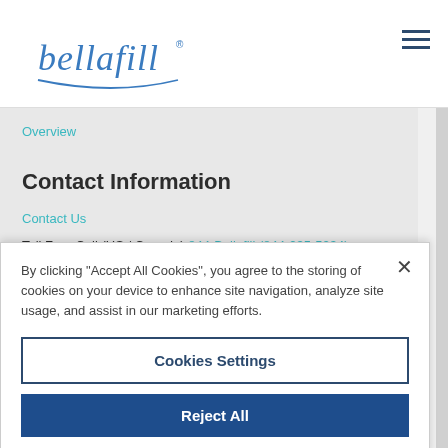[Figure (logo): Bellafill brand logo in blue italic script with curved underline]
Overview
Contact Information
Contact Us
Toll Free Call (US / Canada) 844-Bellafill (844-235-5234)
Local Calls: 858-550-0000
By clicking "Accept All Cookies", you agree to the storing of cookies on your device to enhance site navigation, analyze site usage, and assist in our marketing efforts.
Cookies Settings
Reject All